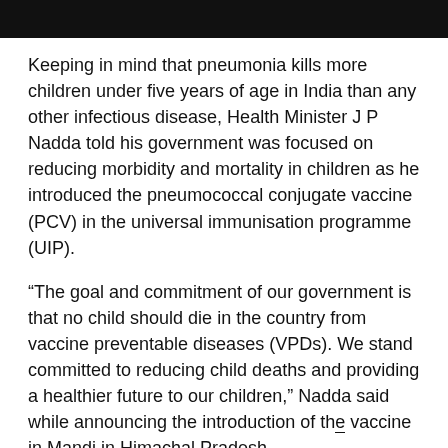Keeping in mind that pneumonia kills more children under five years of age in India than any other infectious disease, Health Minister J P Nadda told his government was focused on reducing morbidity and mortality in children as he introduced the pneumococcal conjugate vaccine (PCV) in the universal immunisation programme (UIP).
“The goal and commitment of our government is that no child should die in the country from vaccine preventable diseases (VPDs). We stand committed to reducing child deaths and providing a healthier future to our children,” Nadda said while announcing the introduction of the vaccine in Mandi in Himachal Pradesh.
Nadda termed it as ‘historic’ moment in India’s immunisation programme and said, “Strengthening routine immunisation is